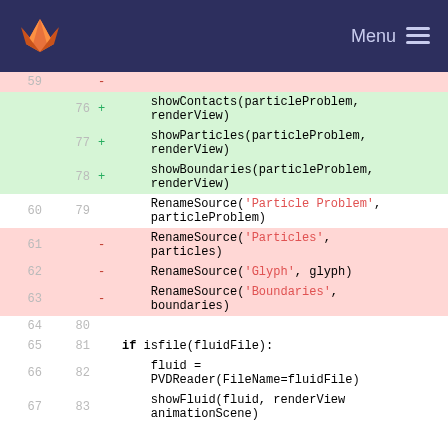GitLab Menu
| old | new | diff | code |
| --- | --- | --- | --- |
| 59 |  | - |  |
|  | 76 | + |     showContacts(particleProblem, renderView) |
|  | 77 | + |     showParticles(particleProblem, renderView) |
|  | 78 | + |     showBoundaries(particleProblem, renderView) |
| 60 | 79 |  |     RenameSource('Particle Problem', particleProblem) |
| 61 |  | - |     RenameSource('Particles', particles) |
| 62 |  | - |     RenameSource('Glyph', glyph) |
| 63 |  | - |     RenameSource('Boundaries', boundaries) |
| 64 | 80 |  |  |
| 65 | 81 |  | if isfile(fluidFile): |
| 66 | 82 |  |     fluid = PVDReader(FileName=fluidFile) |
| 67 | 83 |  |     showFluid(fluid, renderView animationScene) |